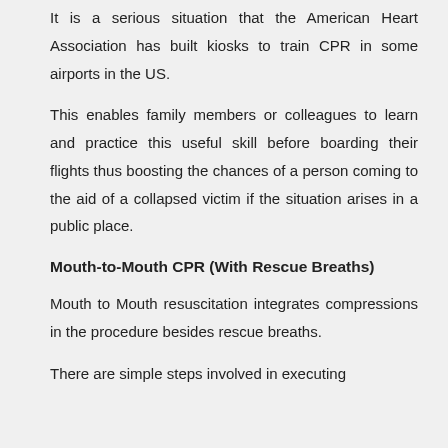It is a serious situation that the American Heart Association has built kiosks to train CPR in some airports in the US.
This enables family members or colleagues to learn and practice this useful skill before boarding their flights thus boosting the chances of a person coming to the aid of a collapsed victim if the situation arises in a public place.
Mouth-to-Mouth CPR (With Rescue Breaths)
Mouth to Mouth resuscitation integrates compressions in the procedure besides rescue breaths.
There are simple steps involved in executing